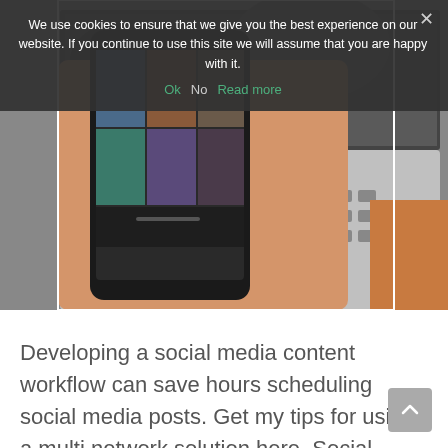[Figure (photo): A hand holding a smartphone showing a social media photo grid, with a laptop keyboard visible in the background. The image is partially obscured by a cookie consent overlay banner.]
We use cookies to ensure that we give you the best experience on our website. If you continue to use this site we will assume that you are happy with it.
Ok   No   Read more
Developing a social media content workflow can save hours scheduling social media posts. Get my tips for using a multi network solution here. Social Media Content Workflow Do you have a successful social media workflow? Or does your social media pattern stress you out and prevent you from